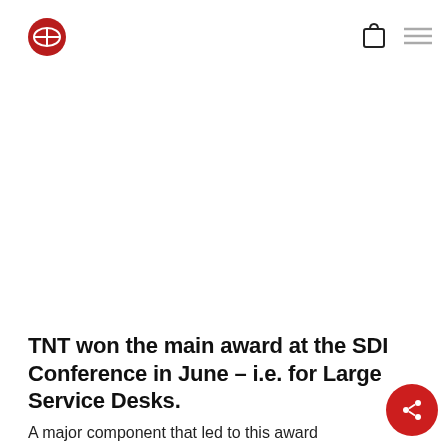TNT website header with logo and navigation icons
TNT won the main award at the SDI Conference in June – i.e. for Large Service Desks.
A major component that led to this award was the fact that TNT have developed a